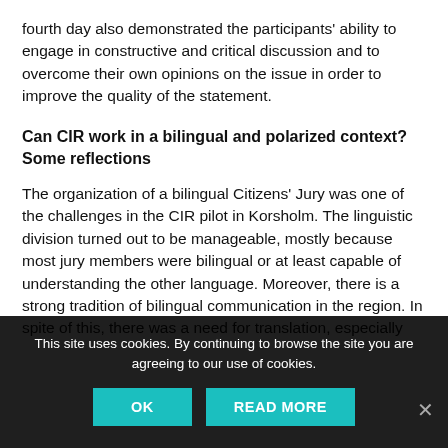fourth day also demonstrated the participants' ability to engage in constructive and critical discussion and to overcome their own opinions on the issue in order to improve the quality of the statement.
Can CIR work in a bilingual and polarized context? Some reflections
The organization of a bilingual Citizens' Jury was one of the challenges in the CIR pilot in Korsholm. The linguistic division turned out to be manageable, mostly because most jury members were bilingual or at least capable of understanding the other language. Moreover, there is a strong tradition of bilingual communication in the region. In spite of this, there was a need for translation, especially
This site uses cookies. By continuing to browse the site you are agreeing to our use of cookies.